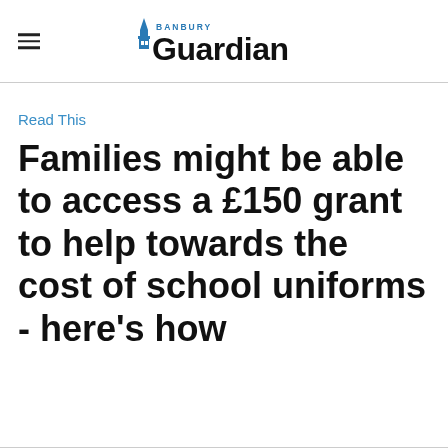Banbury Guardian
Read This
Families might be able to access a £150 grant to help towards the cost of school uniforms - here's how